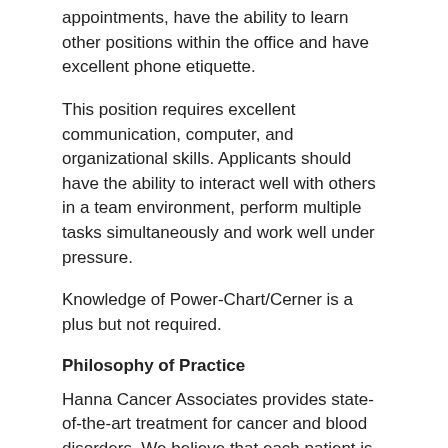appointments, have the ability to learn other positions within the office and have excellent phone etiquette.
This position requires excellent communication, computer, and organizational skills. Applicants should have the ability to interact well with others in a team environment, perform multiple tasks simultaneously and work well under pressure.
Knowledge of Power-Chart/Cerner is a plus but not required.
Philosophy of Practice
Hanna Cancer Associates provides state-of-the-art treatment for cancer and blood disorders. We believe that each patient is unique and reacts to a disease in his or her own way. The goal of the practice is to identify and provide the right treatment for each patient and to do so compassionately. This is what we have been known for over the past 30 years.
Identifying the right treatment requires experience and expertise with the newest treatments available. As a Professor in the Department of Medicine, and Chief of the Hematology/Oncology Division at the University of Tennessee Medical Center, Dr. Hanna teaches medical students and